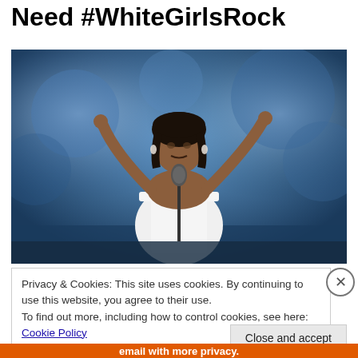Need #WhiteGirlsRock
[Figure (photo): A woman in a white off-shoulder dress standing at a microphone on a stage with blue lighting, raising both hands]
Privacy & Cookies: This site uses cookies. By continuing to use this website, you agree to their use.
To find out more, including how to control cookies, see here: Cookie Policy
Close and accept
email with more privacy.